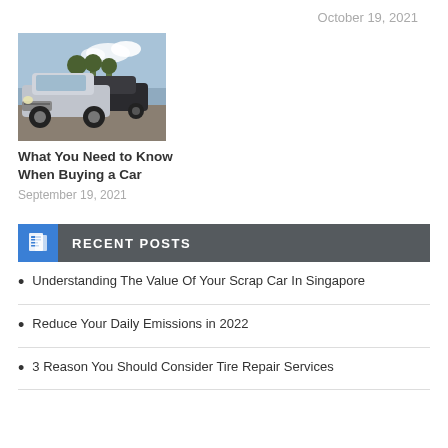October 19, 2021
[Figure (photo): Silver/grey car in foreground with other cars in background in a parking area with trees and sky]
What You Need to Know When Buying a Car
September 19, 2021
RECENT POSTS
Understanding The Value Of Your Scrap Car In Singapore
Reduce Your Daily Emissions in 2022
3 Reason You Should Consider Tire Repair Services